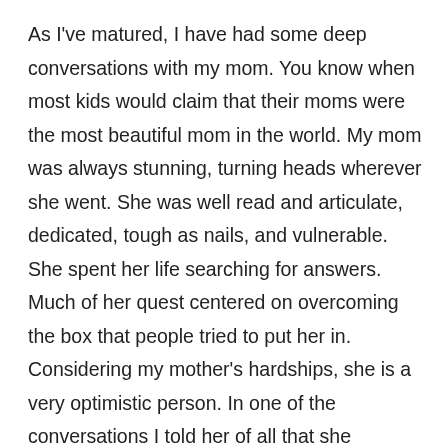As I've matured, I have had some deep conversations with my mom. You know when most kids would claim that their moms were the most beautiful mom in the world. My mom was always stunning, turning heads wherever she went. She was well read and articulate, dedicated, tough as nails, and vulnerable. She spent her life searching for answers. Much of her quest centered on overcoming the box that people tried to put her in. Considering my mother's hardships, she is a very optimistic person. In one of the conversations I told her of all that she accomplished. So many people looking on the outside would be jealous. She was owned her own home in one of the most expensive regions in the country, she had a luxury car, she dressed nice, two of her daughters attend prestigious universities, her son has never been to jail and is an entreprenuer, she has traveled abroad. She grew up